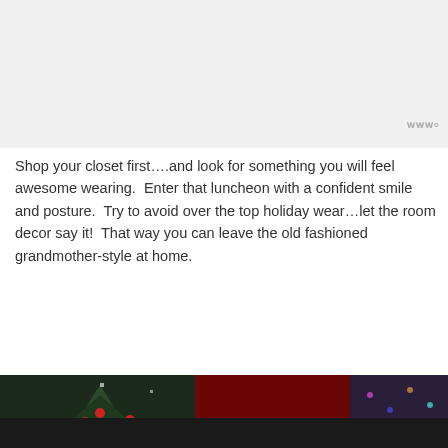[Figure (photo): Light gray placeholder area at top of page representing an image]
Shop your closet first….and look for something you will feel awesome wearing.  Enter that luncheon with a confident smile and posture.  Try to avoid over the top holiday wear…let the room decor say it!  That way you can leave the old fashioned grandmother-style at home.
[Figure (photo): Bottom portion: Christmas scene with Santa hat and Christmas tree with red ornaments visible at top, and an orange advertisement banner at the bottom reading YOUR NEW BFF with a dog silhouette]